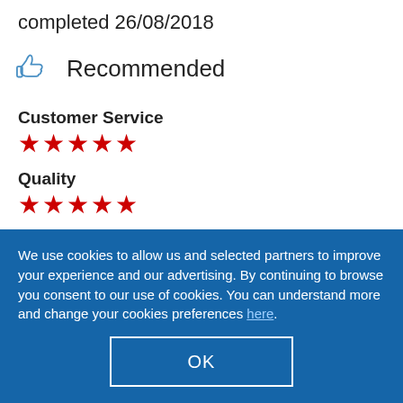completed 26/08/2018
Recommended
Customer Service
★★★★★
Quality
★★★★★
Value
★★★★★
We use cookies to allow us and selected partners to improve your experience and our advertising. By continuing to browse you consent to our use of cookies. You can understand more and change your cookies preferences here.
OK